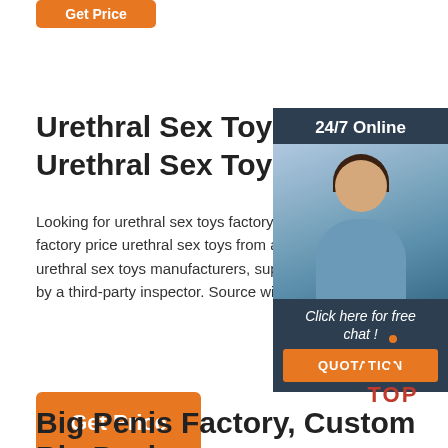[Figure (other): Partially visible orange 'Get Price' button at top]
Urethral Sex Toys Factory, Custo... Urethral Sex Toys OEM ...
Looking for urethral sex toys factory direct sale? Yo... factory price urethral sex toys from a great list of re... urethral sex toys manufacturers, suppliers, traders... by a third-party inspector. Source with confidence.
[Figure (photo): Customer service chat widget with woman wearing headset, dark background, '24/7 Online' header, 'Click here for free chat!' text, orange QUOTATION button]
[Figure (other): Orange Get Price button]
[Figure (other): TOP navigation icon in orange/red with dots forming triangle above text TOP]
Big Penis Factory, Custom Big Penis